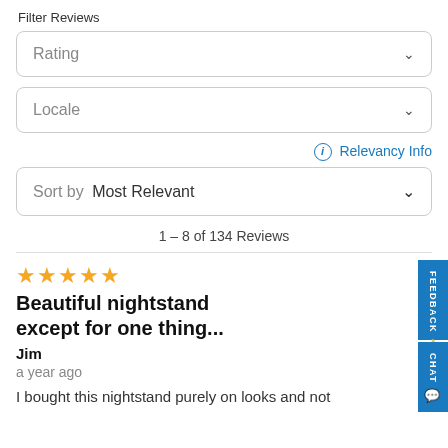Filter Reviews
Rating
Locale
Relevancy Info
Sort by  Most Relevant
1 – 8 of 134 Reviews
★★★★★
Beautiful nightstand except for one thing...
Jim
a year ago
I bought this nightstand purely on looks and not